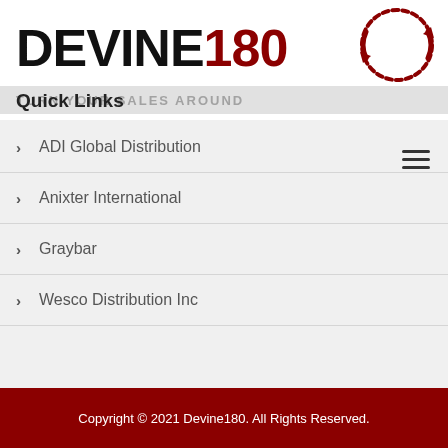[Figure (logo): Devine180 logo with circular arrow icon and tagline TURN YOUR SALES AROUND]
Quick Links
ADI Global Distribution
Anixter International
Graybar
Wesco Distribution Inc
Copyright © 2021 Devine180. All Rights Reserved.